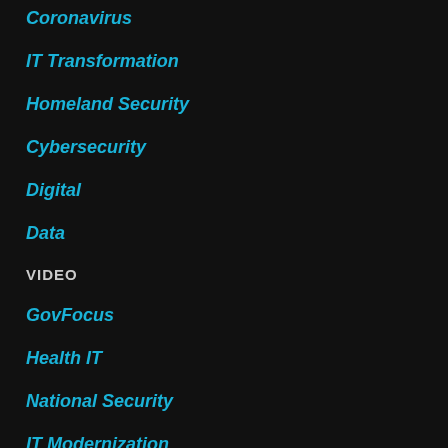Coronavirus
IT Transformation
Homeland Security
Cybersecurity
Digital
Data
VIDEO
GovFocus
Health IT
National Security
IT Modernization
EVENTS
Event Series